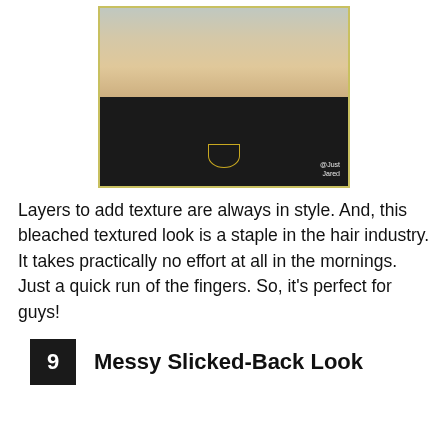[Figure (photo): Young man with bleached blonde hair wearing a black sweatshirt and gold chain necklace. Watermark reads '@Just Jared'.]
Layers to add texture are always in style. And, this bleached textured look is a staple in the hair industry. It takes practically no effort at all in the mornings. Just a quick run of the fingers. So, it’s perfect for guys!
9  Messy Slicked-Back Look